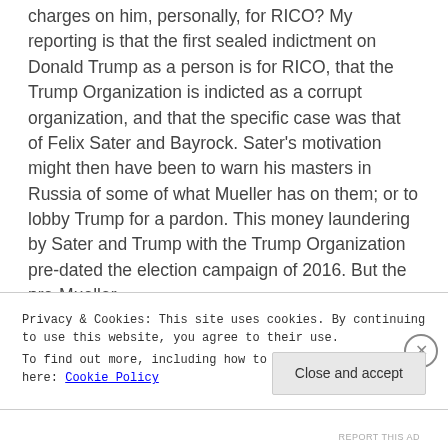charges on him, personally, for RICO? My reporting is that the first sealed indictment on Donald Trump as a person is for RICO, that the Trump Organization is indicted as a corrupt organization, and that the specific case was that of Felix Sater and Bayrock. Sater's motivation might then have been to warn his masters in Russia of some of what Mueller has on them; or to lobby Trump for a pardon. This money laundering by Sater and Trump with the Trump Organization pre-dated the election campaign of 2016. But the pre-Mueller
Privacy & Cookies: This site uses cookies. By continuing to use this website, you agree to their use.
To find out more, including how to control cookies, see here: Cookie Policy
Close and accept
REPORT THIS AD